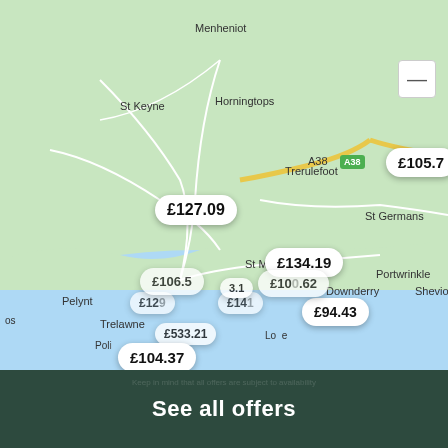[Figure (map): Google Maps screenshot showing coastal area of Cornwall/Devon, UK near Looe, with price bubbles for accommodation: £127.09, £134.19, £106.5, £100.62, £94.43, £104.37, £533.21, £141 (partial), £129 (partial), £105.7 (partial). Place names include Menheniot, St Keyne, Horningtops, Trerulefoot, St Germans, St Martin, Downderry, Portwrinkle, Pelynt, Trelawne, Looe, Polperro area. Road A38 visible.]
See all offers